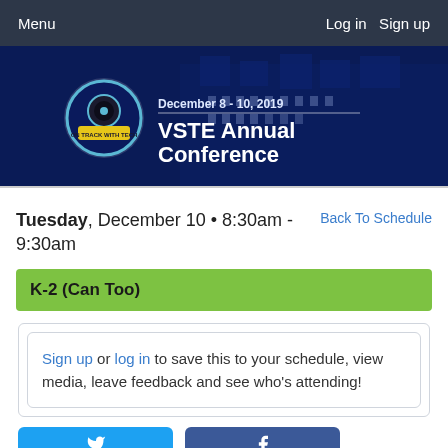Menu | Log in  Sign up
[Figure (screenshot): VSTE Annual Conference banner with train logo, dates December 8-10, 2019, and a building in the background]
Tuesday, December 10 • 8:30am - 9:30am
Back To Schedule
K-2 (Can Too)
Sign up or log in to save this to your schedule, view media, leave feedback and see who's attending!